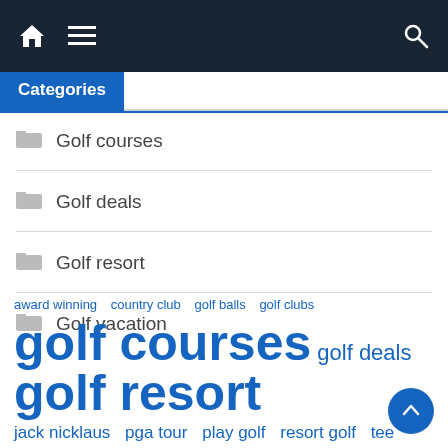Navigation bar with home, menu, and search icons
Categories
Golf courses
Golf deals
Golf resort
Golf vacation
award winning  country club  golf balls  golf clubs  golf courses  golf deals  golf resort  jack nicklaus  pga tour  play golf  resort golf  tee times  top courses  united states  world class